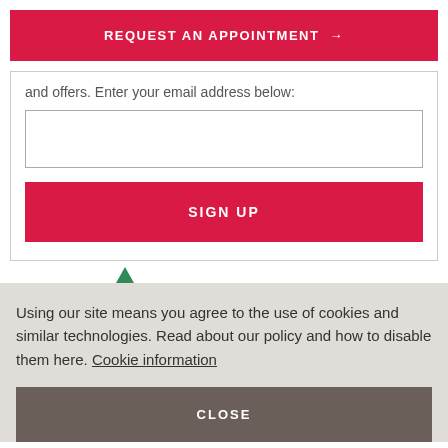REQUEST AN APPOINTMENT →
and offers. Enter your email address below:
SIGN UP
Using our site means you agree to the use of cookies and similar technologies. Read about our policy and how to disable them here. Cookie information
CLOSE